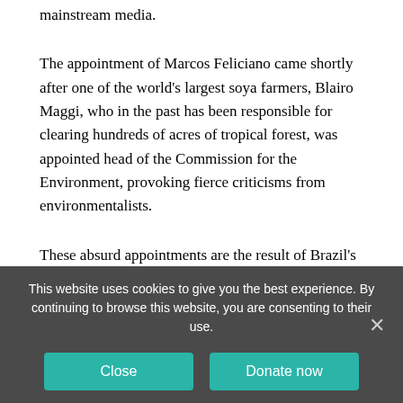mainstream media.
The appointment of Marcos Feliciano came shortly after one of the world’s largest soya farmers, Blairo Maggi, who in the past has been responsible for clearing hundreds of acres of tropical forest, was appointed head of the Commission for the Environment, provoking fierce criticisms from environmentalists.
These absurd appointments are the result of Brazil’s complicated political system with its large number of political parties. The government is constantly being
This website uses cookies to give you the best experience. By continuing to browse this website, you are consenting to their use.